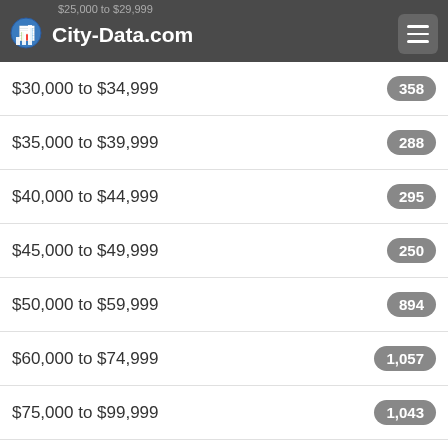City-Data.com
$30,000 to $34,999 — 358
$35,000 to $39,999 — 288
$40,000 to $44,999 — 295
$45,000 to $49,999 — 250
$50,000 to $59,999 — 894
$60,000 to $74,999 — 1,057
$75,000 to $99,999 — 1,043
$100,000 to $124,999 — 890
$125,000 to $149,999
$150,000 to $199,999